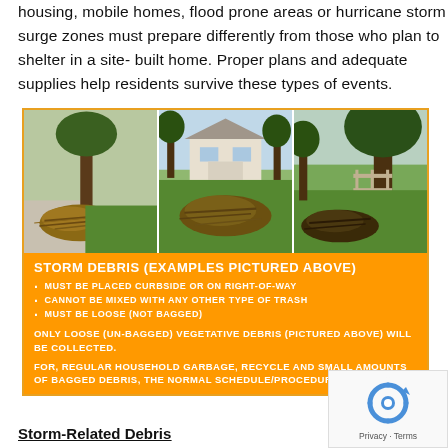housing, mobile homes, flood prone areas or hurricane storm surge zones must prepare differently from those who plan to shelter in a site-built home. Proper plans and adequate supplies help residents survive these types of events.
[Figure (photo): Three side-by-side photos showing storm debris (piles of branches and yard waste) on residential streets and lawns, followed by an orange information panel about storm debris collection rules.]
Storm-Related Debris